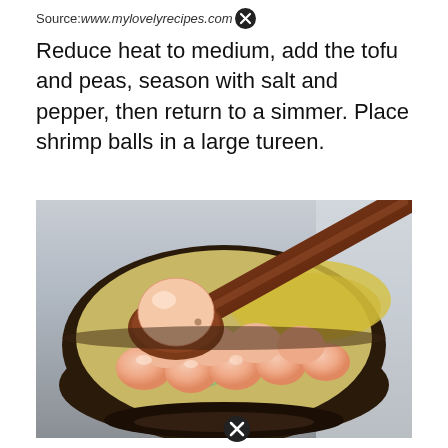Source: www.mylovelyrecipes.com
Reduce heat to medium, add the tofu and peas, season with salt and pepper, then return to a simmer. Place shrimp balls in a large tureen.
[Figure (photo): A dark bowl filled with shrimp balls in broth with green onions and yellow noodles, with a wooden spoon holding one shrimp ball above the bowl.]